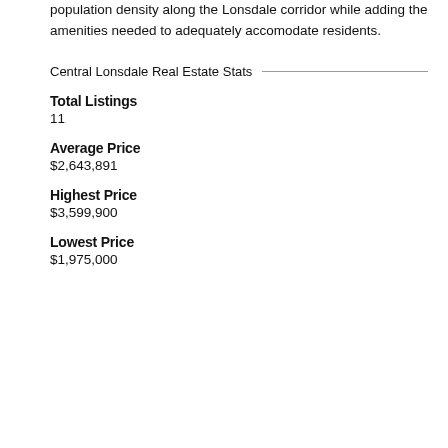population density along the Lonsdale corridor while adding the amenities needed to adequately accomodate residents.
Central Lonsdale Real Estate Stats
Total Listings
11
Average Price
$2,643,891
Highest Price
$3,599,900
Lowest Price
$1,975,000